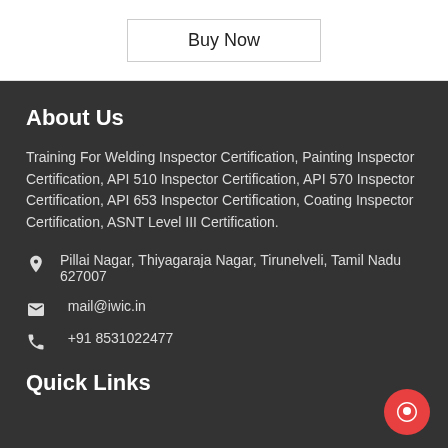Buy Now
About Us
Training For Welding Inspector Certification, Painting Inspector Certification, API 510 Inspector Certification, API 570 Inspector Certification, API 653 Inspector Certification, Coating Inspector Certification, ASNT Level III Certification.
Pillai Nagar, Thiyagaraja Nagar, Tirunelveli, Tamil Nadu 627007
mail@iwic.in
+91 8531022477
Quick Links